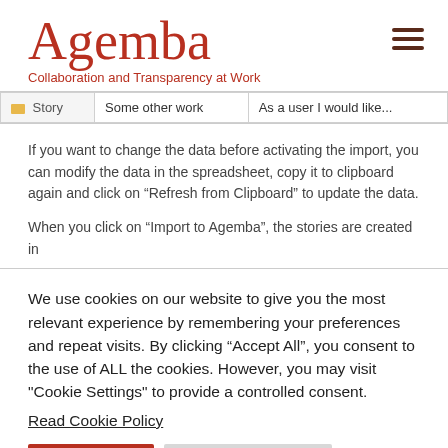Agemba
Collaboration and Transparency at Work
| Story | Some other work | As a user I would like... |
If you want to change the data before activating the import, you can modify the data in the spreadsheet, copy it to clipboard again and click on “Refresh from Clipboard” to update the data.
When you click on “Import to Agemba”, the stories are created in
We use cookies on our website to give you the most relevant experience by remembering your preferences and repeat visits. By clicking “Accept All”, you consent to the use of ALL the cookies. However, you may visit "Cookie Settings" to provide a controlled consent.
Read Cookie Policy
Accept All | Cookie Settings